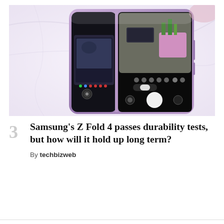[Figure (photo): Samsung Galaxy Z Fold 4 foldable smartphone open on a marble surface, showing camera app on inner display with a garden/bonsai scene, pink/lavender color scheme]
Samsung's Z Fold 4 passes durability tests, but how will it hold up long term?
By techbizweb